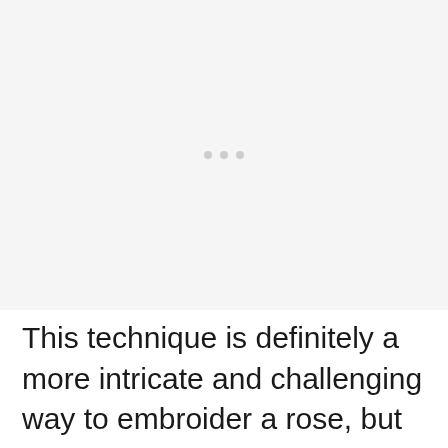[Figure (other): Image placeholder with three small grey dots centered, light grey background]
This technique is definitely a more intricate and challenging way to embroider a rose, but it's a great way to make a realistic-looking one. Thread painting, aka needle painting